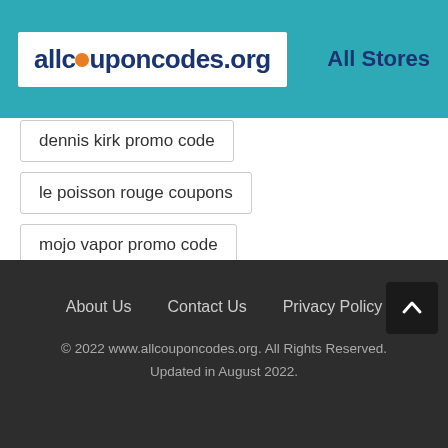allcouponcodes.org | All Stores
dennis kirk promo code
le poisson rouge coupons
mojo vapor promo code
eurmax coupons
About Us | Contact Us | Privacy Policy | © 2022 www.allcouponcodes.org. All Rights Reserved. Updated in August 2022.